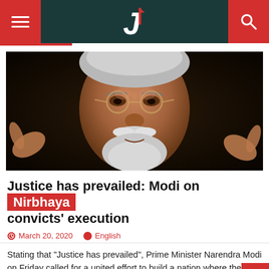Navigation header with hamburger menu, logo, and search icon
[Figure (photo): Close-up photograph of Prime Minister Narendra Modi gesturing with hands, gray beard and mustache, wearing glasses, dark background]
Justice has prevailed: Modi on Nirbhaya convicts' execution
March 20, 2020  English
Stating that "Justice has prevailed", Prime Minister Narendra Modi on Friday called for a united effort to build a nation where the focus is on women's empowerment while ensuring dignity and